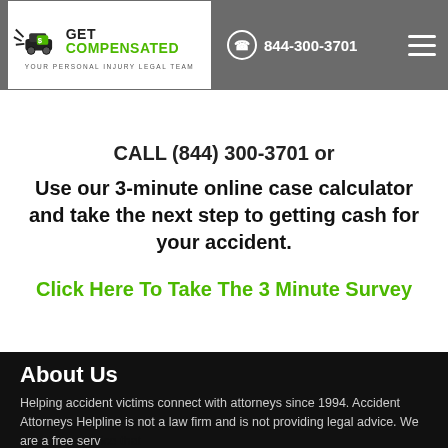[Figure (logo): Get Compensated logo with car crash graphic and tagline 'Your Personal Injury Legal Team']
accident attorney can ensure you receive the [compensation] that you [deserve for your injuries].
844-300-3701
CALL (844) 300-3701 or
Use our 3-minute online case calculator and take the next step to getting cash for your accident.
Click Here To Take The 3 Minute Survey
About Us
Helping accident victims connect with attorneys since 1994. Accident Attorneys Helpline is not a law firm and is not providing legal advice. We are a free service that